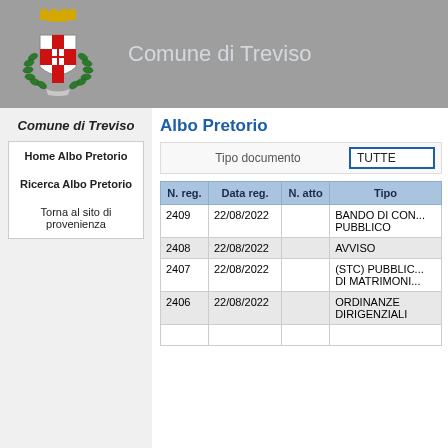Comune di Treviso
Comune di Treviso
Home Albo Pretorio
Ricerca Albo Pretorio
Torna al sito di provenienza
Albo Pretorio
Tipo documento  TUTTE
| N. reg. | Data reg. | N. atto | Tipo |
| --- | --- | --- | --- |
| 2409 | 22/08/2022 |  | BANDO DI CON... PUBBLICO |
| 2408 | 22/08/2022 |  | AVVISO |
| 2407 | 22/08/2022 |  | (STC) PUBBLIC... DI MATRIMONI... |
| 2406 | 22/08/2022 |  | ORDINANZE DIRIGENZIALI |
|  |  |  |  |